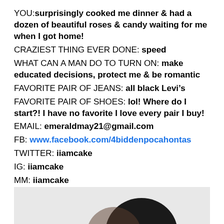YOU: surprisingly cooked me dinner & had a dozen of beautiful roses & candy waiting for me when I got home!
CRAZIEST THING EVER DONE: speed
WHAT CAN A MAN DO TO TURN ON: make educated decisions, protect me & be romantic
FAVORITE PAIR OF JEANS: all black Levi’s
FAVORITE PAIR OF SHOES: lol! Where do I start?! I have no favorite I love every pair I buy!
EMAIL: emeraldmay21@gmail.com
FB: www.facebook.com/4biddenpocahontas
TWITTER: iiamcake
IG: iiamcake
MM: iiamcake
[Figure (photo): Partial photo of a person showing the top of their head with dark hair, bottom portion of the page]